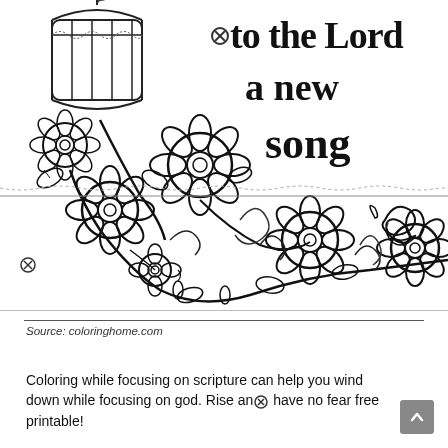[Figure (illustration): Black and white coloring page illustration featuring floral vine designs with large decorative flowers, swirling stems, leaves, a birdcage in the upper left, and a butterfly. Text reads 'to the Lord a new song' in decorative lettering. A horizontal decorative border divides the image. Circular crossed icons visible.]
Source: coloringhome.com
Coloring while focusing on scripture can help you wind down while focusing on god. Rise and have no fear free printable!